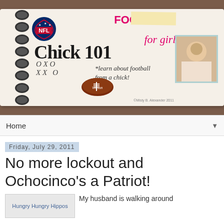[Figure (illustration): NFL 'Chick 101 - Football for Girls' banner image showing a spiral-bound notebook with NFL logo, handwritten text 'Chick 101', 'FOOTBALL for girls', '*learn about football from a chick!', XO play diagram, a Wilson football, and a smiling woman's photo on a brown wood background.]
Home ▼
Friday, July 29, 2011
No more lockout and Ochocinco's a Patriot!
[Figure (photo): Hungry Hungry Hippos image placeholder]
My husband is walking around